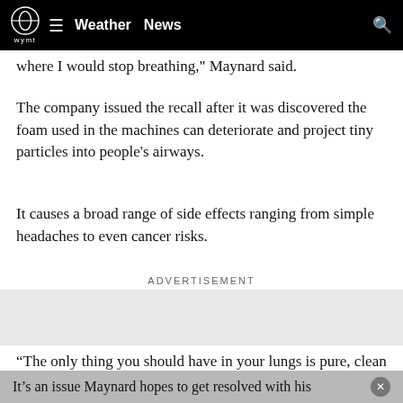WYMT Weather News
where I would stop breathing," Maynard said.
The company issued the recall after it was discovered the foam used in the machines can deteriorate and project tiny particles into people’s airways.
It causes a broad range of side effects ranging from simple headaches to even cancer risks.
ADVERTISEMENT
“The only thing you should have in your lungs is pure, clean oxygen,” Maynard said.
It’s an issue Maynard hopes to get resolved with his